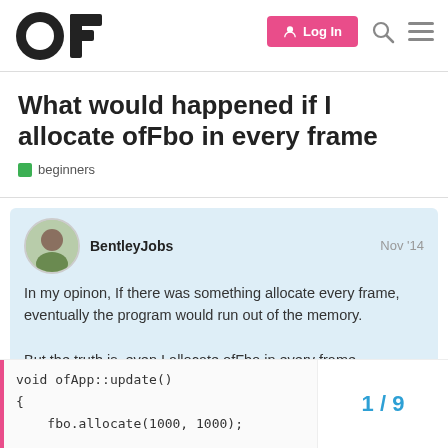OF | Log In
What would happened if I allocate ofFbo in every frame
beginners
BentleyJobs   Nov '14
In my opinon, If there was something allocate every frame, eventually the program would run out of the memory.

But the truth is, even I allocate ofFbo in every frame
void ofApp::update()
{
    fbo.allocate(1000, 1000);
1 / 9